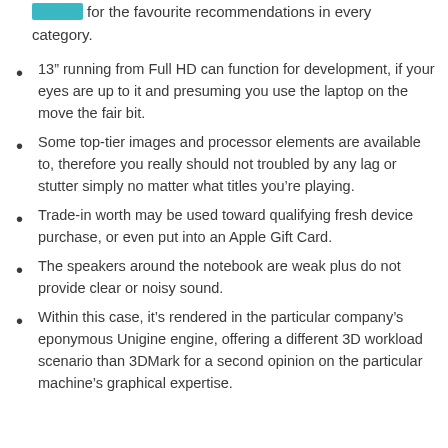devices for the favourite recommendations in every category.
13” running from Full HD can function for development, if your eyes are up to it and presuming you use the laptop on the move the fair bit.
Some top-tier images and processor elements are available to, therefore you really should not troubled by any lag or stutter simply no matter what titles you’re playing.
Trade-in worth may be used toward qualifying fresh device purchase, or even put into an Apple Gift Card.
The speakers around the notebook are weak plus do not provide clear or noisy sound.
Within this case, it’s rendered in the particular company’s eponymous Unigine engine, offering a different 3D workload scenario than 3DMark for a second opinion on the particular machine’s graphical expertise.